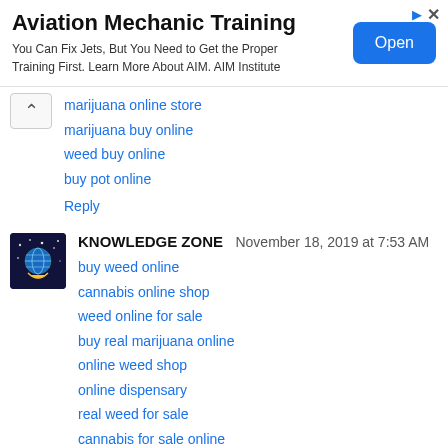[Figure (other): Advertisement banner for Aviation Mechanic Training with Open button]
marijuana online store
marijuana buy online
weed buy online
buy pot online
Reply
KNOWLEDGE ZONE  November 18, 2019 at 7:53 AM
buy weed online
cannabis online shop
weed online for sale
buy real marijuana online
online weed shop
online dispensary
real weed for sale
cannabis for sale online
weed store online